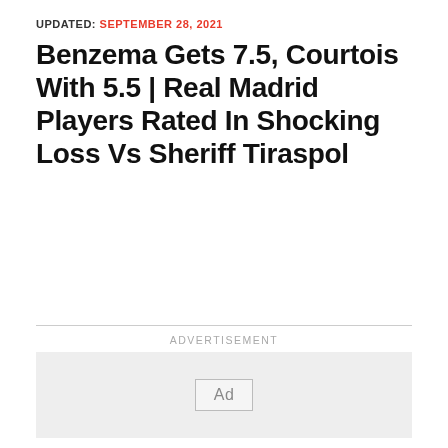UPDATED: SEPTEMBER 28, 2021
Benzema Gets 7.5, Courtois With 5.5 | Real Madrid Players Rated In Shocking Loss Vs Sheriff Tiraspol
ADVERTISEMENT
[Figure (other): Advertisement placeholder box with 'Ad' label]